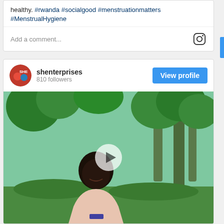healthy. #rwanda #socialgood #menstruationmatters #MenstrualHygiene
Add a comment...
shenterprises
810 followers
[Figure (screenshot): Instagram profile card for shenterprises with 810 followers, View profile button, and a video thumbnail showing a man in a white t-shirt seated outdoors with trees in the background and a play button overlay]